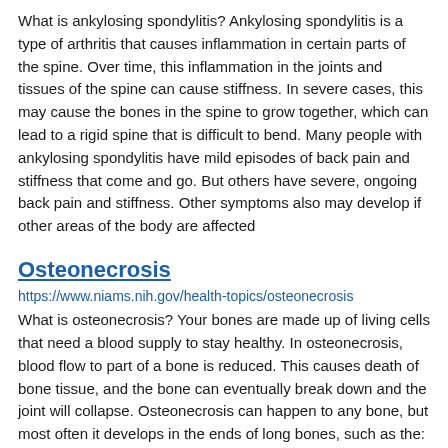What is ankylosing spondylitis? Ankylosing spondylitis is a type of arthritis that causes inflammation in certain parts of the spine. Over time, this inflammation in the joints and tissues of the spine can cause stiffness. In severe cases, this may cause the bones in the spine to grow together, which can lead to a rigid spine that is difficult to bend. Many people with ankylosing spondylitis have mild episodes of back pain and stiffness that come and go. But others have severe, ongoing back pain and stiffness. Other symptoms also may develop if other areas of the body are affected
Osteonecrosis
https://www.niams.nih.gov/health-topics/osteonecrosis
What is osteonecrosis? Your bones are made up of living cells that need a blood supply to stay healthy. In osteonecrosis, blood flow to part of a bone is reduced. This causes death of bone tissue, and the bone can eventually break down and the joint will collapse. Osteonecrosis can happen to any bone, but most often it develops in the ends of long bones, such as the: Thigh bone. Upper arm bone. Less often, the bones of the elbows, ankles, feet, wrists, and hands are affected. When the disease involves part of a bone in a joint, it can
Gout